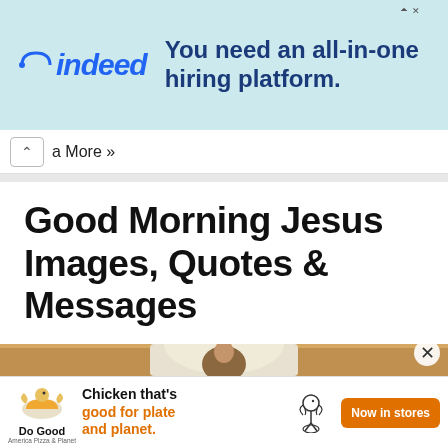[Figure (screenshot): Indeed advertisement banner: 'You need an all-in-one hiring platform.' with Indeed logo on teal/light blue background]
a More »
Good Morning Jesus Images, Quotes & Messages
Images
[Figure (photo): Statue of Jesus Christ in a church setting with ornate white arch backdrop and yellow/golden walls]
[Figure (screenshot): Do Good Chicken advertisement: 'Chicken that's good for plate and planet.' with orange 'Now in stores' button]